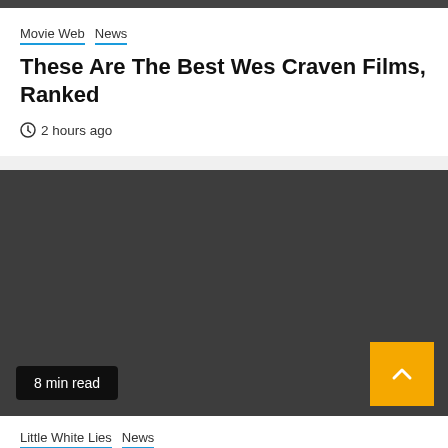Movie Web  News
These Are The Best Wes Craven Films, Ranked
2 hours ago
[Figure (photo): Dark gray placeholder image block for article about Wes Craven Films with '8 min read' badge and an orange scroll-to-top button]
Little White Lies  News